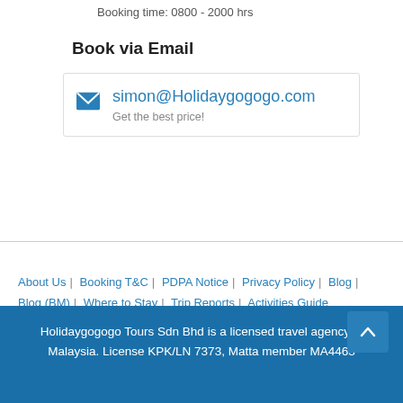Booking time: 0800 - 2000 hrs
Book via Email
simon@Holidaygogogo.com
Get the best price!
About Us | Booking T&C | PDPA Notice | Privacy Policy | Blog | Blog (BM) | Where to Stay | Trip Reports | Activities Guide
Holidaygogogo Tours Sdn Bhd is a licensed travel agency in Malaysia. License KPK/LN 7373, Matta member MA4463